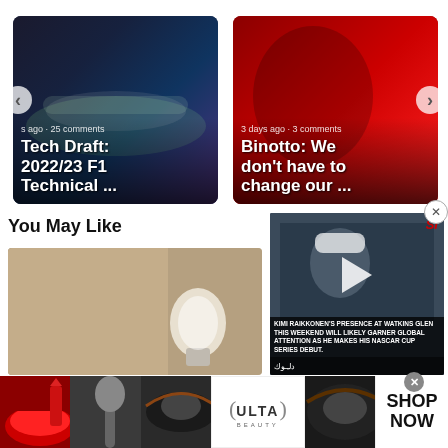[Figure (screenshot): F1 2022/23 car tech draft article card with meta text 's ago · 25 comments' and title 'Tech Draft: 2022/23 F1 Technical ...']
[Figure (screenshot): Ferrari Binotto article card with meta '3 days ago · 3 comments' and title 'Binotto: We don't have to change our ...']
You May Like
[Figure (photo): Close-up photo of a lightbulb being held by hand]
[Figure (screenshot): Video widget showing Kimi Raikkonen at NASCAR debut with SI logo, play button, and caption: KIMI RAIKKONEN'S PRESENCE AT WATKINS GLEN THIS WEEKEND WILL LIKELY GARNER GLOBAL ATTENTION AS HE MAKES HIS NASCAR CUP SERIES DEBUT.]
[Figure (photo): Ulta Beauty advertisement strip showing makeup imagery, Ulta logo, and SHOP NOW call to action]